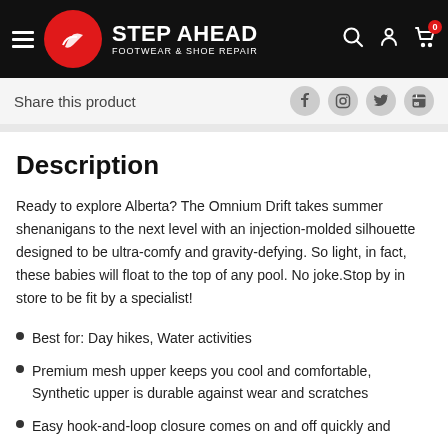Step Ahead Footwear & Shoe Repair
Share this product
Description
Ready to explore Alberta? The Omnium Drift takes summer shenanigans to the next level with an injection-molded silhouette designed to be ultra-comfy and gravity-defying. So light, in fact, these babies will float to the top of any pool. No joke.Stop by in store to be fit by a specialist!
Best for: Day hikes, Water activities
Premium mesh upper keeps you cool and comfortable, Synthetic upper is durable against wear and scratches
Easy hook-and-loop closure comes on and off quickly and